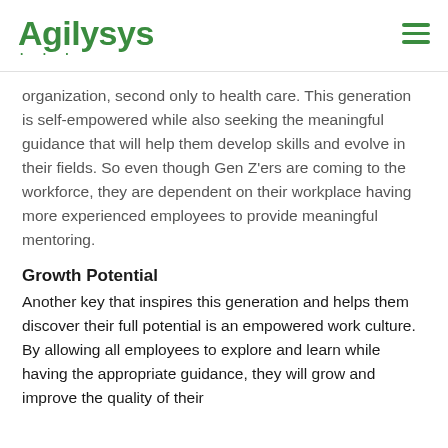Agilysys
organization, second only to health care. This generation is self-empowered while also seeking the meaningful guidance that will help them develop skills and evolve in their fields. So even though Gen Z'ers are coming to the workforce, they are dependent on their workplace having more experienced employees to provide meaningful mentoring.
Growth Potential
Another key that inspires this generation and helps them discover their full potential is an empowered work culture. By allowing all employees to explore and learn while having the appropriate guidance, they will grow and improve the quality of their